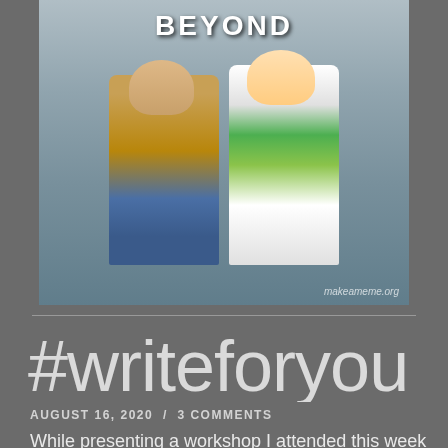[Figure (photo): Meme image showing Woody and Buzz Lightyear from Toy Story, with text 'BEYOND' at the top. Watermark reads makeameme.org]
#writeforyou
AUGUST 16, 2020  /  3 COMMENTS
While presenting a workshop I attended this week via Pandemic University, Michael Lista suggested people